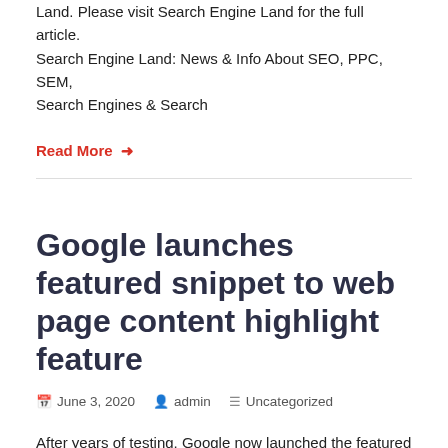Land. Please visit Search Engine Land for the full article. Search Engine Land: News & Info About SEO, PPC, SEM, Search Engines & Search
Read More →
Google launches featured snippet to web page content highlight feature
June 3, 2020   admin   Uncategorized
After years of testing, Google now launched the featured snippet to web page highlight feature. Please visit Search Engine Land for the full article. Search Engine Land: News &